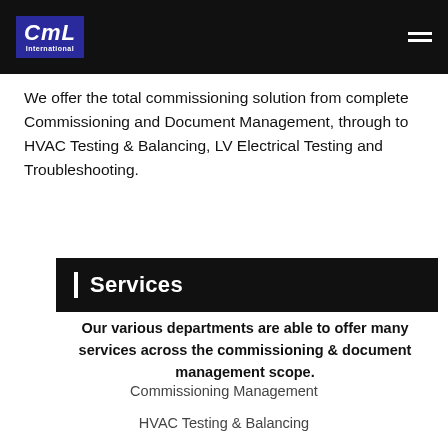CML International
We offer the total commissioning solution from complete Commissioning and Document Management, through to HVAC Testing & Balancing, LV Electrical Testing and Troubleshooting.
| Services
Our various departments are able to offer many services across the commissioning & document management scope.
Commissioning Management
HVAC Testing & Balancing
Document Management